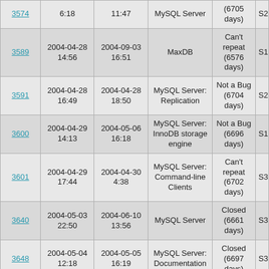| ID | Created | Updated | Category | Status | S |
| --- | --- | --- | --- | --- | --- |
| 3574 | 6:18 | 11:47 | MySQL Server | (6705 days) | S2 |
| 3589 | 2004-04-28 14:56 | 2004-09-03 16:51 | MaxDB | Can't repeat (6576 days) | S1 |
| 3591 | 2004-04-28 16:49 | 2004-04-28 18:50 | MySQL Server: Replication | Not a Bug (6704 days) | S2 |
| 3600 | 2004-04-29 14:13 | 2004-05-06 16:18 | MySQL Server: InnoDB storage engine | Not a Bug (6696 days) | S1 |
| 3601 | 2004-04-29 17:44 | 2004-04-30 4:38 | MySQL Server: Command-line Clients | Can't repeat (6702 days) | S3 |
| 3640 | 2004-05-03 22:50 | 2004-06-10 13:56 | MySQL Server | Closed (6661 days) | S3 |
| 3648 | 2004-05-04 12:18 | 2004-05-05 16:19 | MySQL Server: Documentation | Closed (6697 days) | S3 |
| 3670 | 2004-05-05 23:46 | 2004-05-06 22:47 | MySQL Server: Installing | Not a Bug (6696 days) | S2 |
| 3689 | 2004-05-07 20:51 | 2004-05-07 20:55 | MySQL Server: Installing | Not a Bug (6695 days) | S1 |
| 3703 | 2004-05-10 18:46 | 2004-05-19 20:50 | MySQL Websites: MySQL.com | Closed (6683 days) | S2 |